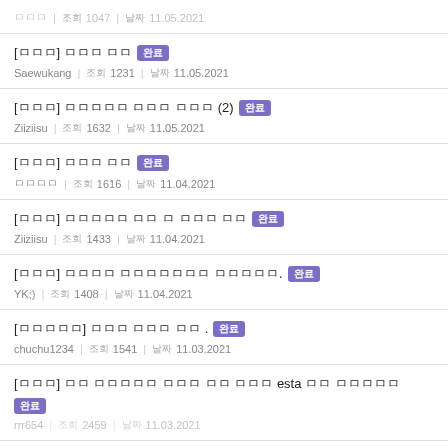조회 1047 | 날짜 11.05.2021
[질문] 영어로 질문 완료 | Saewukang | 조회 1231 | 날짜 11.05.2021
[질문] 미국에서 캐나다 여행할때 (2) 완료 | Ziiziisu | 조회 1632 | 날짜 11.05.2021
[질문] 캐나다 여행 완료 | 조회 1616 | 날짜 11.04.2021
[질문] 신용카드로 현지 와 이하 영어로 완료 | Ziiziisu | 조회 1433 | 날짜 11.04.2021
[질문] 미국에서 캐나다여행하려고 합니다잠시만요. 완료 | YK;) | 조회 1408 | 날짜 11.04.2021
[여행질문] 캐나다 여행하면서 질문 . 완료 | chuchu1234 | 조회 1541 | 날짜 11.03.2021
[질문] 이 여행에서 캐나다 현지 여행 esta 관련 질문있어요 완료 | rrr654 | 조회 2459 | 날짜 11.03.2021
[글] 영어 질문 완료